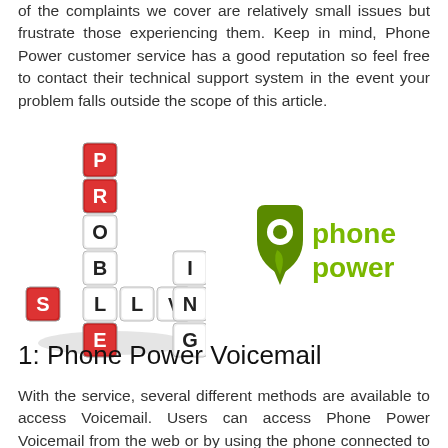of the complaints we cover are relatively small issues but frustrate those experiencing them. Keep in mind, Phone Power customer service has a good reputation so feel free to contact their technical support system in the event your problem falls outside the scope of this article.
[Figure (illustration): Two images side by side: left shows a 3D word puzzle with dice spelling PROBLEM SOLVING; right shows the Phone Power logo with a green shield/pin icon and green text reading 'phone power']
1: Phone Power Voicemail
With the service, several different methods are available to access Voicemail. Users can access Phone Power Voicemail from the web or by using the phone connected to the service. The former is a relatively easy process where the user simply